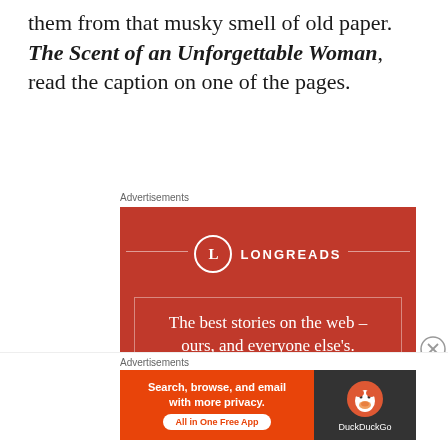them from that musky smell of old paper. The Scent of an Unforgettable Woman, read the caption on one of the pages.
Advertisements
[Figure (other): Longreads advertisement — red background with logo circle 'L', text: 'The best stories on the web – ours, and everyone else's.' and a 'Start reading' button.]
Advertisements
[Figure (other): DuckDuckGo advertisement — 'Search, browse, and email with more privacy. All in One Free App' with DuckDuckGo logo on dark background.]